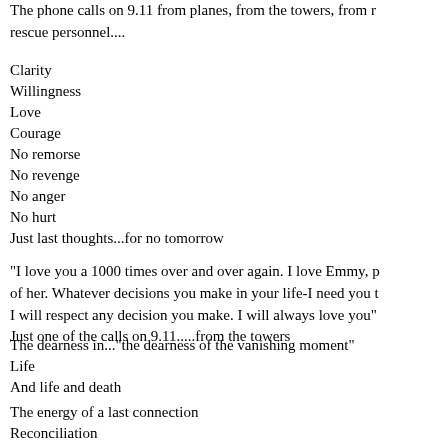The phone calls on 9.11 from planes, from the towers, from rescue personnel....
Clarity
Willingness
Love
Courage
No remorse
No revenge
No anger
No hurt
Just last thoughts...for no tomorrow
"I love you a 1000 times over and over again. I love Emmy, pl of her. Whatever decisions you make in your life-I need you to I will respect any decision you make. I will always love you" Just one of the calls on 9.11.....from the towers
The dearness in..."the dearness of the vanishing moment"
Life
And life and death
The energy of a last connection
Reconciliation
Want to know
Need to know